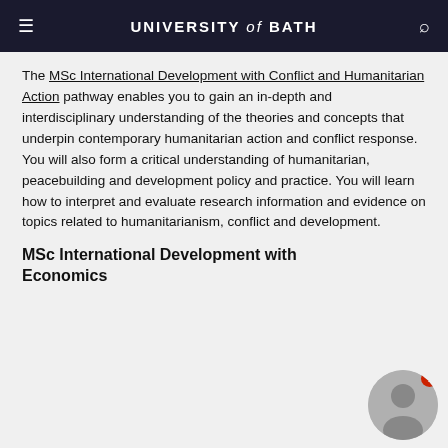UNIVERSITY of BATH
The MSc International Development with Conflict and Humanitarian Action pathway enables you to gain an in-depth and interdisciplinary understanding of the theories and concepts that underpin contemporary humanitarian action and conflict response. You will also form a critical understanding of humanitarian, peacebuilding and development policy and practice. You will learn how to interpret and evaluate research information and evidence on topics related to humanitarianism, conflict and development.
MSc International Development with Economics